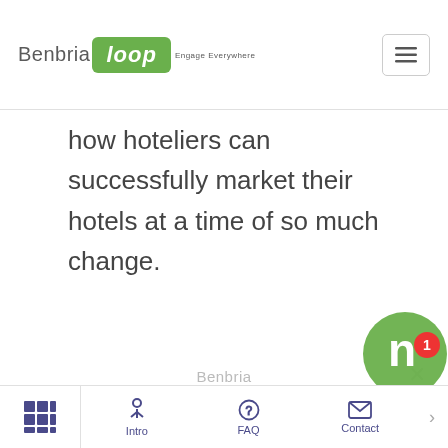[Figure (logo): Benbria Loop logo with green box and tagline 'Engage Everywhere', plus hamburger menu icon]
how hoteliers can successfully market their hotels at a time of so much change.
Benbria
“Hotels need to evolve, just as taxis and other businesses have discovered. You can’t compete by playing politics. You can’t stall progress. The only way to compete
Intro  FAQ  Contact